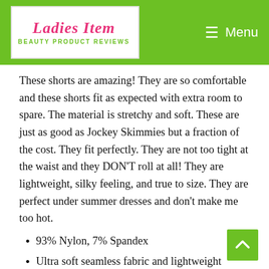Ladies Item — Beauty Product Reviews | Menu
These shorts are amazing! They are so comfortable and these shorts fit as expected with extra room to spare. The material is stretchy and soft. These are just as good as Jockey Skimmies but a fraction of the cost. They fit perfectly. They are not too tight at the waist and they DON'T roll at all! They are lightweight, silky feeling, and true to size. They are perfect under summer dresses and don't make me too hot.
93% Nylon, 7% Spandex
Ultra soft seamless fabric and lightweight